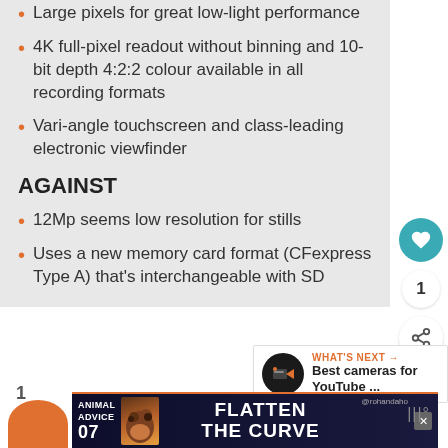Large pixels for great low-light performance
4K full-pixel readout without binning and 10-bit depth 4:2:2 colour available in all recording formats
Vari-angle touchscreen and class-leading electronic viewfinder
AGAINST
12Mp seems low resolution for stills
Uses a new memory card format (CFexpress Type A) that's interchangeable with SD
[Figure (screenshot): What's Next promotional box with Camera Jabber logo and text 'Best cameras for YouTube ...']
[Figure (screenshot): Ad banner: Animal Advice 07 / Flatten the Curve with decorative illustration]